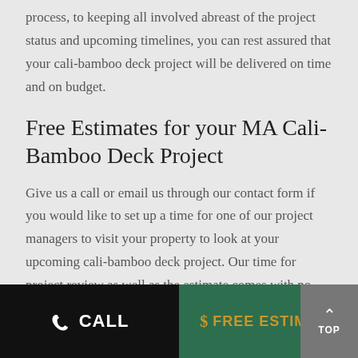process, to keeping all involved abreast of the project status and upcoming timelines, you can rest assured that your cali-bamboo deck project will be delivered on time and on budget.
Free Estimates for your MA Cali-Bamboo Deck Project
Give us a call or email us through our contact form if you would like to set up a time for one of our project managers to visit your property to look at your upcoming cali-bamboo deck project. Our time for project review as well as the estimate comes with no strings attached. We know that after we meet, and you receive our proposal, that you will strongly consider Castle Builders as a top value and quality provider for your
CALL | $ FREE ESTIMATE | TOP